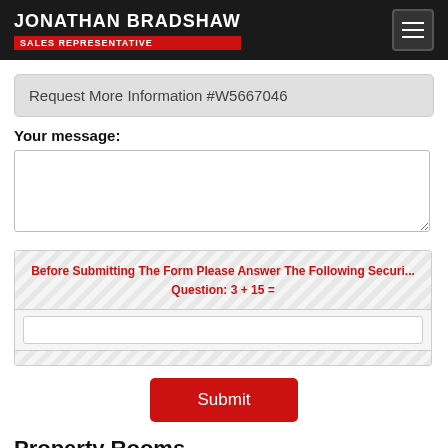JONATHAN BRADSHAW SALES REPRESENTATIVE
Request More Information #W5667046
Your message:
Before Submitting The Form Please Answer The Following Security Question: 3 + 15 =
Submit
Property Rooms